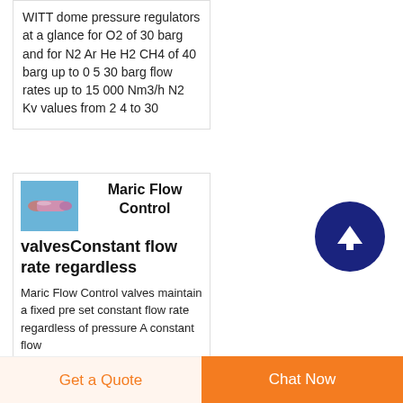WITT dome pressure regulators at a glance for O2 of 30 barg and for N2 Ar He H2 CH4 of 40 barg up to 0 5 30 barg flow rates up to 15 000 Nm3/h N2 Kv values from 2 4 to 30
[Figure (illustration): Small product image of a valve/tube component, pinkish-purple tube on blue background]
Maric Flow Control valvesConstant flow rate regardless
Maric Flow Control valves maintain a fixed pre set constant flow rate regardless of pressure A constant flow
Get a Quote
Chat Now